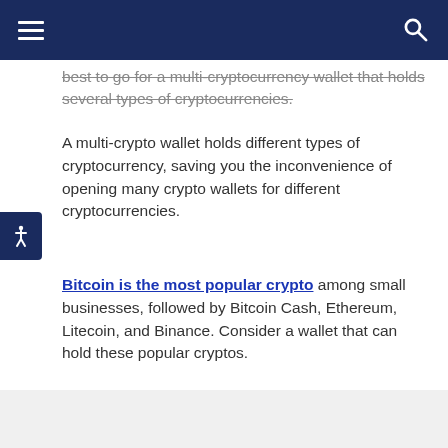[navigation bar with hamburger menu and search icon]
best to go for a multi-cryptocurrency wallet that holds several types of cryptocurrencies.
A multi-crypto wallet holds different types of cryptocurrency, saving you the inconvenience of opening many crypto wallets for different cryptocurrencies.
Bitcoin is the most popular crypto among small businesses, followed by Bitcoin Cash, Ethereum, Litecoin, and Binance. Consider a wallet that can hold these popular cryptos.